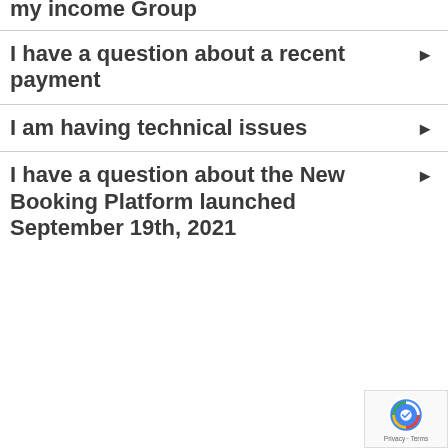my income Group
I have a question about a recent payment
I am having technical issues
I have a question about the New Booking Platform launched September 19th, 2021